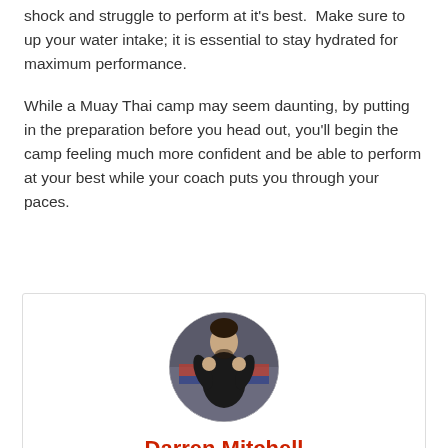shock and struggle to perform at it's best.  Make sure to up your water intake; it is essential to stay hydrated for maximum performance.
While a Muay Thai camp may seem daunting, by putting in the preparation before you head out, you'll begin the camp feeling much more confident and be able to perform at your best while your coach puts you through your paces.
[Figure (photo): Circular profile photo of Darren Mitchell, a man in a black tank top in a fighting stance against a blurred background with Thai flags.]
Darren Mitchell
Darren Mitchell is a Muay Thai enthusiast and writer for the BestMuayThai blog. Darren has